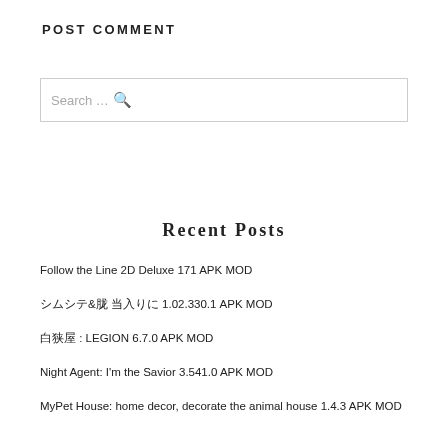POST COMMENT
Search ...
Recent Posts
Follow the Line 2D Deluxe 171 APK MOD
□□□□&□□ □□□□ 1.02.330.1 APK MOD
□□□ : LEGION 6.7.0 APK MOD
Night Agent: I'm the Savior 3.541.0 APK MOD
MyPet House: home decor, decorate the animal house 1.4.3 APK MOD